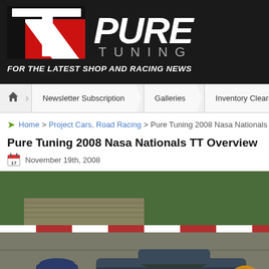[Figure (logo): Pure Tuning logo banner — black background with red and white T-logo mark on left, stylized 'PURE TUNING' text on right in white/silver italic font]
FOR THE LATEST SHOP AND RACING NEWS
Home | Newsletter Subscription | Galleries | Inventory Clearance
Home > Project Cars, Road Racing > Pure Tuning 2008 Nasa Nationals TT O
Pure Tuning 2008 Nasa Nationals TT Overview
November 19th, 2008
[Figure (photo): Racing car on track — blue sports car (likely Porsche or similar) on a road racing circuit, viewed from behind another car. Grandstands and trees visible in background. Second blue car visible further back on track.]